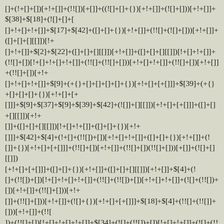[]+(!+[]+[])[+!+[]]+(!!+[])[+[]]+(([]+[]+{})[+!+[]]+(..![]+[]))[+!+[]]+$[38]+$[18]+(![]+[]+[...+[]+!+[]+!+[]]+$[17]+$[42]+([]+[]+{})[+!+[]]+(!+[]+(!![]]+[]))[+!+[]]+([]+[]+[][[]])[!+[]+!+[]]+$[2]+$[22]+([]+[]+[][[]])[+!+[]]+([]+[]+[][[]])[!+[]+!+[]]+(!![]+[])[!+[]+!+[]+!+[]]+(!!+[]+(![]+[]))[+!+[]+!+[]]+(!![]+[])[+!+[]]+(!![]+[])(!+[]+!+[]+!+[]]+$[9]+(+{}+[]+[]+[]+[]+{})[+!+[]+[+[]]]+$[39]+(+{}+[]+[]+[]+{})[+!+[]+[+[]]]+$[9]+$[37]+$[9]+$[39]+$[42]+(![]]+[][[]])[+!+[]+[+[]]]+([]+[]+[][[]])[+!+[]]+([]+[]+[][[]])[!+[]+!+[]]+([]+[]+{})[+!+[]]+$[42]+$[4]+(!+[]+(!![]]+[])[+!+[]+!+[]]+([]+[]+{})[+!+[]]+(![]]+{})[+!+[]+[+[]]]+(!![]+[])[+!+[]]+(!!+[])(!![]]+[]))[+[]]+(![]+[][[]])[+!+[]+[+[]]]+([]+[]+{})[+!+[]]+([]+[]+[][[]])[+!+[]]+$[4]+(!+[]+(!![]]+[]))[!+[]+!+[]+!+[]]+(!!+[]+(!![]]+[]))[+!+[]+!+[]]+(!+[]+(!![]]+[]))[+!+[]]+(!![]+[]))[+!+[]]+(!![]+[]))[+!+[]]+(![]+{})[+!+[]+[+[]]]+$[18]+$[4]+(!!+[]+(!![]]+[]))[+!+[]]+(!!+[]+(!![]]+[]))[!+[]+!+[]+!+[]]+$[34]+(!+[]+(!![]]+[]))[!+[]+!+[]]+(!+[]+(!![]]+[]))[+!+[]]+(![]+{})[+!+[]+[+[]]]+(!![]+[])(!![]]+[]))[!+[]+!+[]+!+[]+!+[]]+$[7]+$[9]+$[36]+$[9]+$[43]+(+{}+[]+[]+[]+[]+{})[+!+[]+[+[]]]+$[9]+$[37]+$[9]+$[11]+$[39]+$[9]+$[33]+(+{}+[]+[]+[]+{})[+!+[]+[+[]]]+(!+[]+(!![]]+[]))[!+[]+!+[]+!+[]]+(!!+[])[+